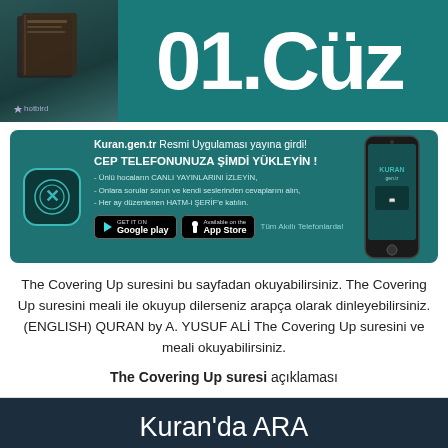[Figure (illustration): Dark teal banner with an image of a book/Quran on the left side with hotbird logo, and large white text '01.Cüz' on the right]
[Figure (infographic): Teal app advertisement banner for Kuran.gen.tr official app, with app icon, Google Play and App Store download buttons, and a phone mockup on the right]
The Covering Up suresini bu sayfadan okuyabilirsiniz. The Covering Up suresini meali ile okuyup dilerseniz arapça olarak dinleyebilirsiniz. (ENGLISH) QURAN by A. YUSUF ALİ The Covering Up suresini ve meali okuyabilirsiniz.
The Covering Up suresi açıklaması
Kuran'da ARA
Aranacak Kelime: